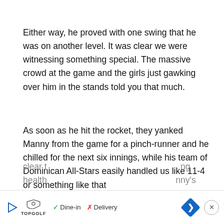Either way, he proved with one swing that he was on another level. It was clear we were witnessing something special. The massive crowd at the game and the girls just gawking over him in the stands told you that much.
As soon as he hit the rocket, they yanked Manny from the game for a pinch-runner and he chilled for the next six innings, while his team of Dominican All-Stars easily handled us like 11-4 or something like that
George Washington Trojans TO HOF (maybe)
Manny played sparingly at George Washington as it became clear th...
[Figure (other): Advertisement bar at bottom showing TopGolf logo, Dine-in (checkmark) and Delivery (X) options, a blue navigation diamond arrow icon, and a close button]